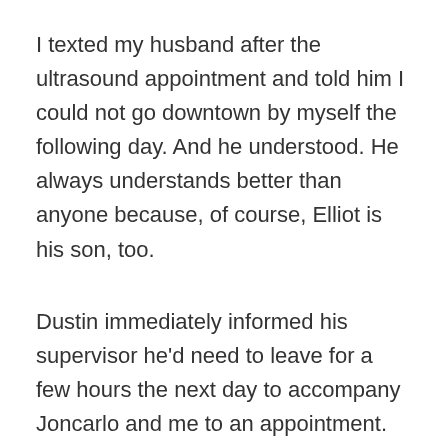I texted my husband after the ultrasound appointment and told him I could not go downtown by myself the following day. And he understood. He always understands better than anyone because, of course, Elliot is his son, too.
Dustin immediately informed his supervisor he'd need to leave for a few hours the next day to accompany Joncarlo and me to an appointment. The day of the appointment as he drove us and we approached the streets leading to St. Joe's, I almost thought I would be okay. But as soon as we made that final turn and St. Joseph's Hospital came into view, any illusion of okay dissolved. My heart raced, my breathing quickened, and I felt the panic of losing Elliot rise in me as if I could somehow still save him. I